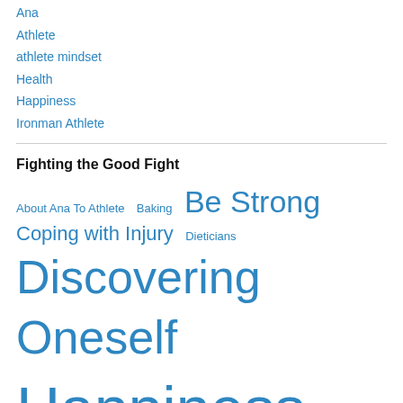Ana
Athlete
athlete mindset
Health
Happiness
Ironman Athlete
Fighting the Good Fight
About Ana To Athlete  Baking  Be Strong  Coping with Injury  Dieticians  Discovering Oneself  Happiness  Ironman  Living and Laughing  Pregnancy  Recovery  Balance  Strategies  Thoughts on